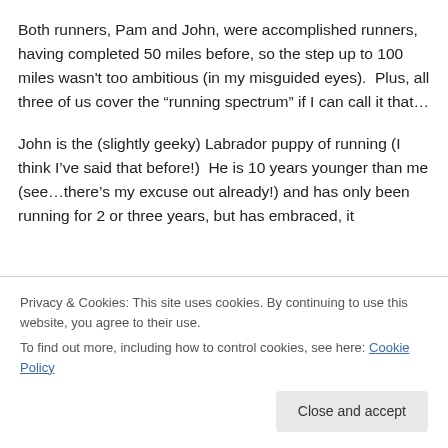Both runners, Pam and John, were accomplished runners, having completed 50 miles before, so the step up to 100 miles wasn't too ambitious (in my misguided eyes).  Plus, all three of us cover the “running spectrum” if I can call it that…
John is the (slightly geeky) Labrador puppy of running (I think I’ve said that before!)  He is 10 years younger than me (see…there’s my excuse out already!) and has only been running for 2 or three years, but has embraced, it
Privacy & Cookies: This site uses cookies. By continuing to use this website, you agree to their use.
To find out more, including how to control cookies, see here: Cookie Policy
Close and accept